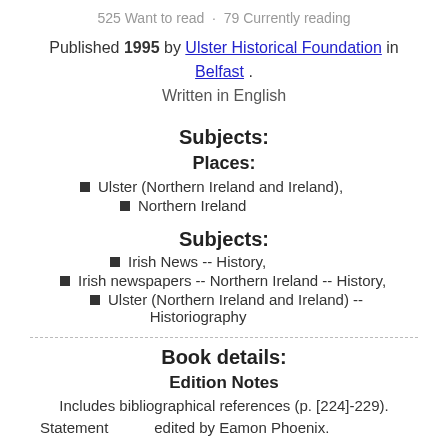525 Want to read · 79 Currently reading
Published 1995 by Ulster Historical Foundation in Belfast . Written in English
Subjects:
Places:
Ulster (Northern Ireland and Ireland),
Northern Ireland
Subjects:
Irish News -- History,
Irish newspapers -- Northern Ireland -- History,
Ulster (Northern Ireland and Ireland) -- Historiography
Book details:
Edition Notes
Includes bibliographical references (p. [224]-229).
Statement    edited by Eamon Phoenix.